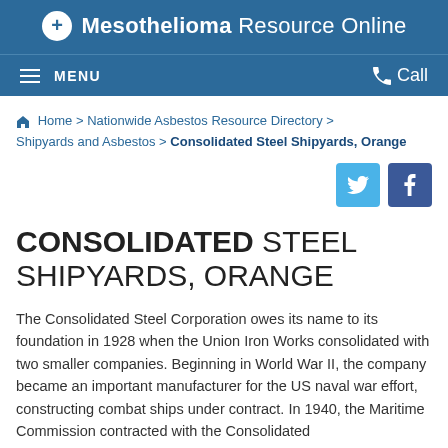Mesothelioma Resource Online
MENU  Call
Home > Nationwide Asbestos Resource Directory > Shipyards and Asbestos > Consolidated Steel Shipyards, Orange
CONSOLIDATED STEEL SHIPYARDS, ORANGE
The Consolidated Steel Corporation owes its name to its foundation in 1928 when the Union Iron Works consolidated with two smaller companies. Beginning in World War II, the company became an important manufacturer for the US naval war effort, constructing combat ships under contract. In 1940, the Maritime Commission contracted with the Consolidated